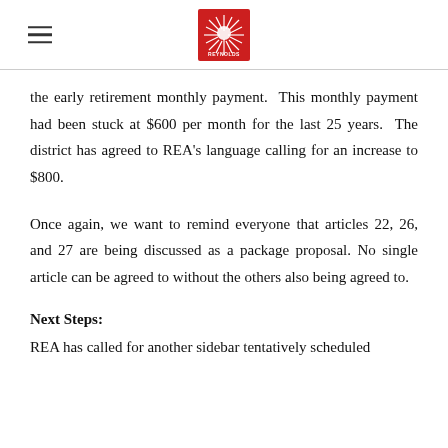Reynolds Education Association logo and navigation
the early retirement monthly payment.  This monthly payment had been stuck at $600 per month for the last 25 years.  The district has agreed to REA's language calling for an increase to $800.
Once again, we want to remind everyone that articles 22, 26, and 27 are being discussed as a package proposal.  No single article can be agreed to without the others also being agreed to.
Next Steps:
REA has called for another sidebar tentatively scheduled